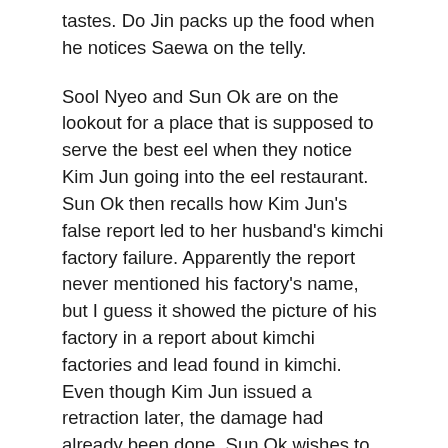tastes. Do Jin packs up the food when he notices Saewa on the telly.
Sool Nyeo and Sun Ok are on the lookout for a place that is supposed to serve the best eel when they notice Kim Jun going into the eel restaurant. Sun Ok then recalls how Kim Jun's false report led to her husband's kimchi factory failure. Apparently the report never mentioned his factory's name, but I guess it showed the picture of his factory in a report about kimchi factories and lead found in kimchi. Even though Kim Jun issued a retraction later, the damage had already been done. Sun Ok wishes to go into the restaurant to see him, but Sool Nyeo pulls her away and says no one roots for the loser. The only thing Sun Ok and her family can do is to pick themselves up and start over again. True. What can be done after the damage?